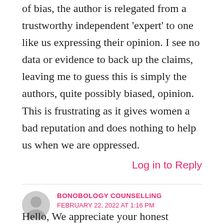of bias, the author is relegated from a trustworthy independent 'expert' to one like us expressing their opinion. I see no data or evidence to back up the claims, leaving me to guess this is simply the authors, quite possibly biased, opinion. This is frustrating as it gives women a bad reputation and does nothing to help us when we are oppressed.
Log in to Reply
BONOBOLOGY COUNSELLING
FEBRUARY 22, 2022 AT 1:16 PM
Hello, We appreciate your honest opinion. We